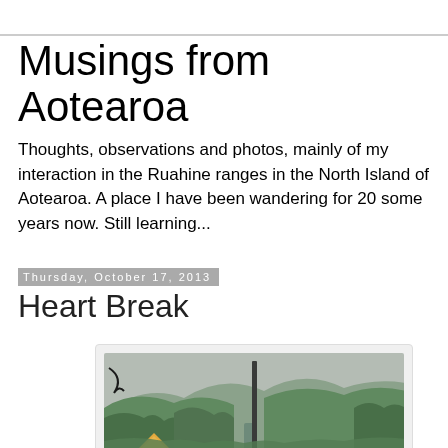Musings from Aotearoa
Thoughts, observations and photos, mainly of my interaction in the Ruahine ranges in the North Island of Aotearoa. A place I have been wandering for 20 some years now. Still learning...
Thursday, October 17, 2013
Heart Break
[Figure (photo): A forested valley scene showing green tree-covered hillsides under an overcast grey sky. A tall dark pole or post stands in the foreground center. In the lower left area there is a small orange/yellow tent or structure. A narrow water channel or path runs through the valley floor.]